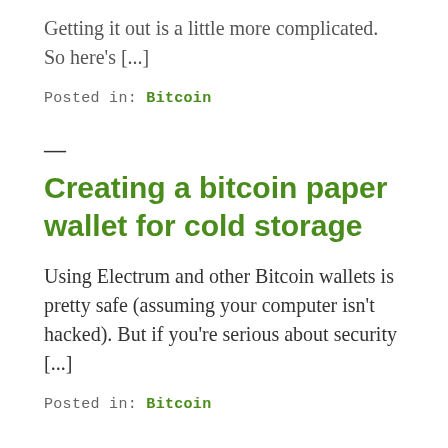Sending money to a paper wallet is the easy part. Getting it out is a little more complicated. So here's [...]
Posted in: Bitcoin
—
Creating a bitcoin paper wallet for cold storage
Using Electrum and other Bitcoin wallets is pretty safe (assuming your computer isn't hacked). But if you're serious about security [...]
Posted in: Bitcoin